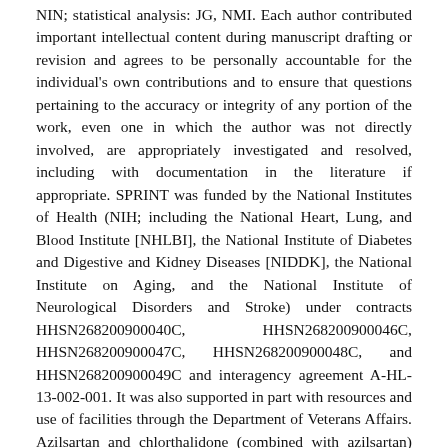NIN; statistical analysis: JG, NMI. Each author contributed important intellectual content during manuscript drafting or revision and agrees to be personally accountable for the individual's own contributions and to ensure that questions pertaining to the accuracy or integrity of any portion of the work, even one in which the author was not directly involved, are appropriately investigated and resolved, including with documentation in the literature if appropriate. SPRINT was funded by the National Institutes of Health (NIH; including the National Heart, Lung, and Blood Institute [NHLBI], the National Institute of Diabetes and Digestive and Kidney Diseases [NIDDK], the National Institute on Aging, and the National Institute of Neurological Disorders and Stroke) under contracts HHSN268200900040C, HHSN268200900046C, HHSN268200900047C, HHSN268200900048C, and HHSN268200900049C and interagency agreement A-HL-13-002-001. It was also supported in part with resources and use of facilities through the Department of Veterans Affairs. Azilsartan and chlorthalidone (combined with azilsartan) were provided by Takeda Pharmaceuticals International. Computing resources were supported through 1S10OD023495-01, and additional support was provided through the following National Center for Advancing Translational Sciences clinical and